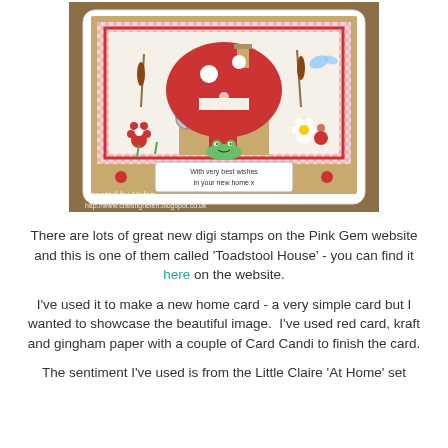[Figure (photo): A handmade greeting card featuring a toadstool house stamp image. The card has a red and white gingham paper background with kraft and red card layers. The central image shows a mushroom-shaped house with a frog, flowers, and cattails. A sentiment tag reads 'With very best wishes in your new home x'. Red card candi embellishments are on either side. A watermark reads 'Created by Helen' and 'http://www.craftinghelen.blogspot.co.uk'.]
There are lots of great new digi stamps on the Pink Gem website and this is one of them called 'Toadstool House' - you can find it here on the website.
I've used it to make a new home card - a very simple card but I wanted to showcase the beautiful image.  I've used red card, kraft and gingham paper with a couple of Card Candi to finish the card.
The sentiment I've used is from the Little Claire 'At Home' set